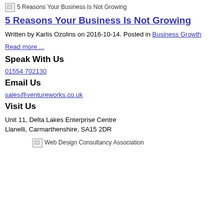[Figure (other): Broken image placeholder for '5 Reasons Your Business Is Not Growing']
5 Reasons Your Business Is Not Growing
Written by Karlis Ozolins on 2016-10-14. Posted in Business Growth
Read more ...
Speak With Us
01554 702130
Email Us
sales@ventureworks.co.uk
Visit Us
Unit 11, Delta Lakes Enterprise Centre
Llanelli, Carmarthenshire, SA15 2DR
[Figure (other): Broken image placeholder for 'Web Design Consultancy Association']